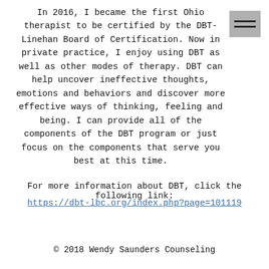In 2016, I became the first Ohio therapist to be certified by the DBT-Linehan Board of Certification. Now in private practice, I enjoy using DBT as well as other modes of therapy. DBT can help uncover ineffective thoughts, emotions and behaviors and discover more effective ways of thinking, feeling and being. I can provide all of the components of the DBT program or just focus on the components that serve you best at this time.
For more information about DBT, click the following link:
https://dbt-lbc.org/index.php?page=101119
© 2018 Wendy Saunders Counseling